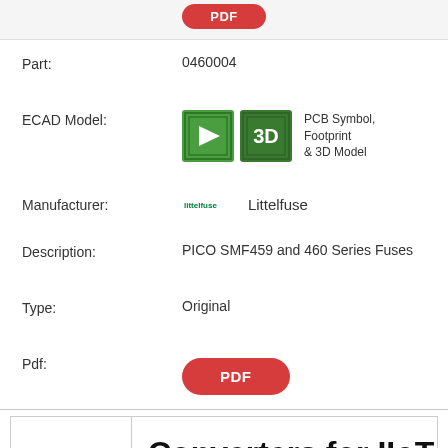[Figure (other): Partial red PDF button at top of page]
Part: 0460004
ECAD Model: PCB Symbol, Footprint & 3D Model
Manufacturer: Littelfuse
Description: PICO SMF459 and 460 Series Fuses
Type: Original
Pdf:
[Figure (other): Red PDF button]
| Part #: | Converters for IIoT |
| --- | --- |